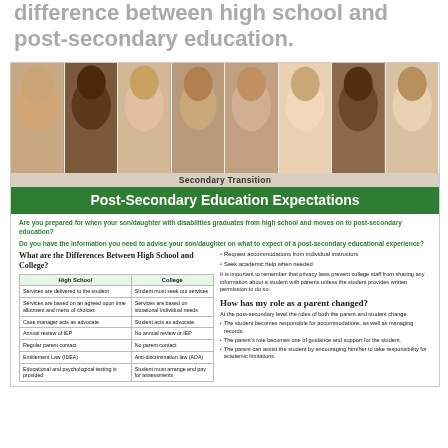difference between high school and post-secondary education.
[Figure (photo): Strip of diverse smiling young faces (students), followed by a tan bar labeled 'Secondary Transition' and a green header bar titled 'Post-Secondary Education Expectations'.]
Are you prepared for when your son/daughter with disabilities graduates from high school and moves on to post-secondary education?
Do you have the information you need to advise your son/daughter on what to expect of a post-secondary educational experience?
What are the Differences Between High School and College?
| High School | College |
| --- | --- |
| Services are delivered to the student | Student must seek out services |
| Services are based on an agreed upon time allotment and menu of choices | Services are based on situational individual needs |
| Case manager acts as advocate | Student acts as advocate |
| Annual review of IEP | No annual review or IEP |
| Regular parent contact | No parent contact |
| Entitlement Law (IDEA) | Anti-discrimination law (ADA) |
| Educational and psychological testing is provided | Student must arrange and pay for assessments |
Request accommodations from individual instructors
Seek academic help when needed
It is important to remember that privacy laws prevent college staff from sharing any information about a student with parents unless the student provides written permission to do so.
How has my role as a parent changed?
At the post-secondary level the roles of both the parent and student change.
The student becomes responsible for accommodations, as well as managing records.
The parent's role becomes one of guidance and support for the student.
The parent can assist the student by encouraging him/her to take responsibility for academic limitations.